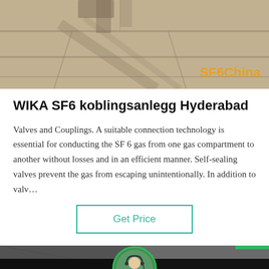[Figure (photo): Outdoor concrete pavement/floor surface with shadow of a person's legs visible at top. SF6China watermark in orange text at bottom right.]
WIKA SF6 koblingsanlegg Hyderabad
Valves and Couplings. A suitable connection technology is essential for conducting the SF 6 gas from one gas compartment to another without losses and in an efficient manner. Self-sealing valves prevent the gas from escaping unintentionally. In addition to valv…
[Figure (screenshot): Get Price button with teal/green border]
[Figure (photo): Lower portion showing dark background image with Leave Message and Chat Online buttons in black bar, with circular avatar of customer service agent in center wearing headset.]